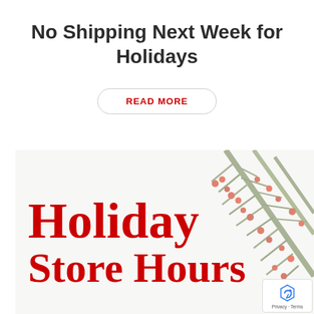No Shipping Next Week for Holidays
READ MORE
[Figure (illustration): Holiday Store Hours promotional image with large red text 'Holiday Store Hours' overlaid on a light background with pine branches and red berries decorative element on the right side, and a reCAPTCHA badge in the bottom-right corner.]